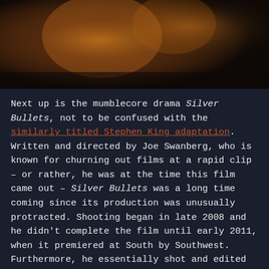[Figure (photo): Warm-toned cinematic photo with orange and amber hues, appearing to show a person with dramatic lighting against a dark background.]
Next up is the mumblecore drama Silver Bullets, not to be confused with the similarly titled Stephen King adaptation. Written and directed by Joe Swanberg, who is known for churning out films at a rapid clip – or rather, he was at the time this film came out – Silver Bullets was a long time coming since its production was unusually protracted. Shooting began in late 2008 and he didn't complete the film until early 2011, when it premiered at South by Southwest. Furthermore, he essentially shot and edited two different versions before settling on a